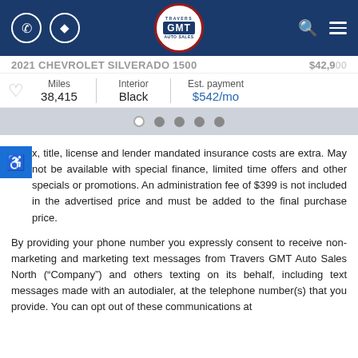[Figure (logo): Travers GMT Auto Sales navigation header with phone icon, directions icon, GMT logo badge, search icon, and hamburger menu on dark blue background]
2021 CHEVROLET SILVERADO 1500   $42,900
Miles 38,415 | Interior Black | Est. payment $542/mo
[Figure (other): Carousel navigation dots: 5 dots, first one white/active, rest gray]
x, title, license and lender mandated insurance costs are extra. May not be available with special finance, limited time offers and other specials or promotions. An administration fee of $399 is not included in the advertised price and must be added to the final purchase price.
By providing your phone number you expressly consent to receive non-marketing and marketing text messages from Travers GMT Auto Sales North (“Company”) and others texting on its behalf, including text messages made with an autodialer, at the telephone number(s) that you provide. You can opt out of these communications at